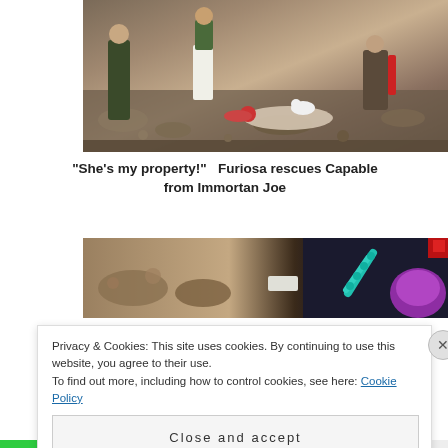[Figure (photo): Scene from Furiosa film showing characters on rubble ground. Multiple people visible including someone with red hair lying down, others standing or sitting on debris and rocks.]
“She’s my property!”   Furiosa rescues Capable from Immortan Joe
[Figure (photo): Scene showing rubble and debris ground with graffiti mural visible on right side featuring colorful art with teal/green and purple elements.]
Privacy & Cookies: This site uses cookies. By continuing to use this website, you agree to their use.
To find out more, including how to control cookies, see here: Cookie Policy
Close and accept